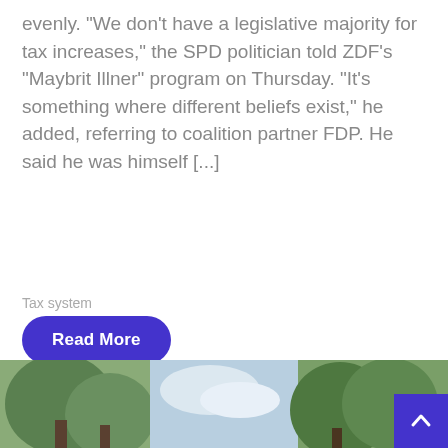evenly. "We don't have a legislative majority for tax increases," the SPD politician told ZDF's "Maybrit Illner" program on Thursday. "It's something where different beliefs exist," he added, referring to coalition partner FDP. He said he was himself [...]
Tax system
Read More
Farmers to pay new tax under new Treasur...
[Figure (photo): Outdoor nature scene with trees and sky, divided into three segments showing green trees on left, sky in center, and more trees on right]